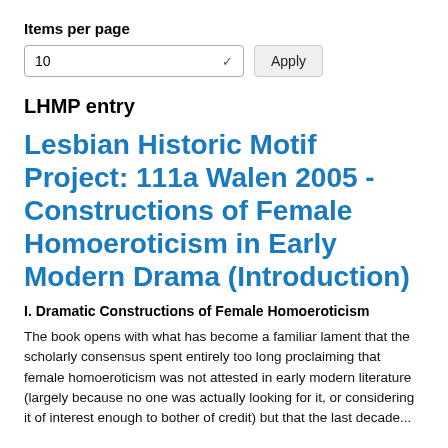Items per page
10   Apply
LHMP entry
Lesbian Historic Motif Project: 111a Walen 2005 - Constructions of Female Homoeroticism in Early Modern Drama (Introduction)
I. Dramatic Constructions of Female Homoeroticism
The book opens with what has become a familiar lament that the scholarly consensus spent entirely too long proclaiming that female homoeroticism was not attested in early modern literature (largely because no one was actually looking for it, or considering it of interest enough to bother of credit) but that the last decade...